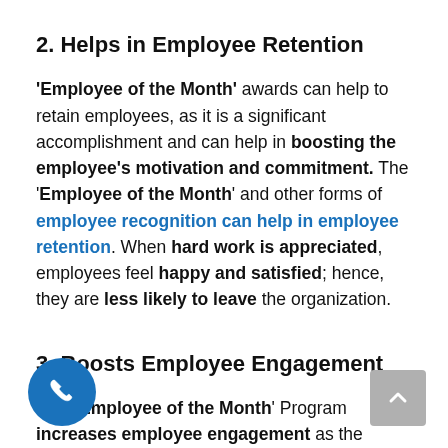2. Helps in Employee Retention
'Employee of the Month' awards can help to retain employees, as it is a significant accomplishment and can help in boosting the employee's motivation and commitment. The 'Employee of the Month' and other forms of employee recognition can help in employee retention. When hard work is appreciated, employees feel happy and satisfied; hence, they are less likely to leave the organization.
3. Boosts Employee Engagement
'Employee of the Month' Program increases employee engagement as the employee feels more motivated working towards a goal, and in recognition for their efforts. Empl...